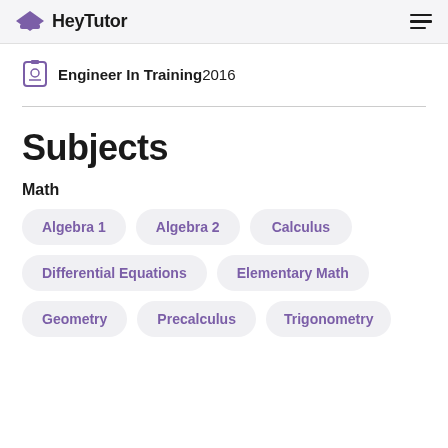HeyTutor
Engineer In Training 2016
Subjects
Math
Algebra 1
Algebra 2
Calculus
Differential Equations
Elementary Math
Geometry
Precalculus
Trigonometry